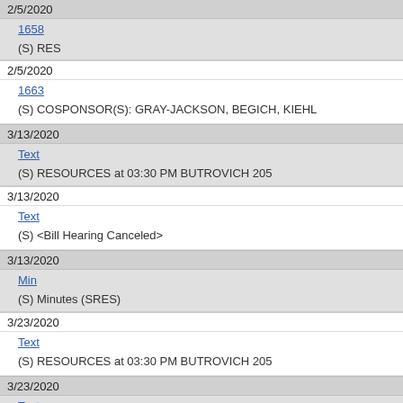2/5/2020
1658
(S) RES
2/5/2020
1663
(S) COSPONSOR(S): GRAY-JACKSON, BEGICH, KIEHL
3/13/2020
Text
(S) RESOURCES at 03:30 PM BUTROVICH 205
3/13/2020
Text
(S) <Bill Hearing Canceled>
3/13/2020
Min
(S) Minutes (SRES)
3/23/2020
Text
(S) RESOURCES at 03:30 PM BUTROVICH 205
3/23/2020
Text
(S) Moved SJR 15 Out of Committee